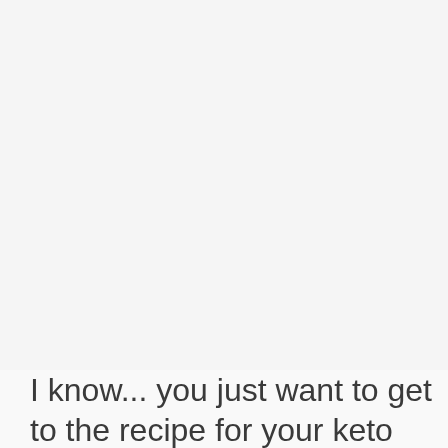[Figure (photo): Large image area occupying the top portion of the page, appears blank or very light colored (image content not visible in this crop).]
I know... you just want to get to the recipe for your keto bacon and